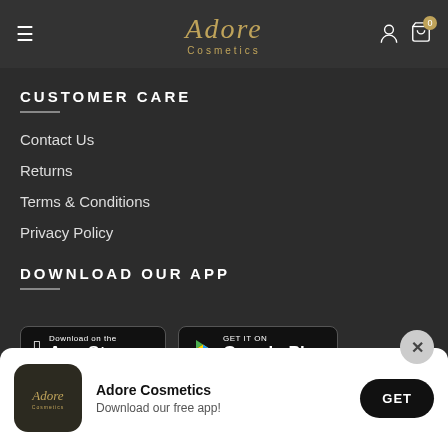Adore Cosmetics
CUSTOMER CARE
Contact Us
Returns
Terms & Conditions
Privacy Policy
DOWNLOAD OUR APP
[Figure (screenshot): App Store and Google Play download badges]
[Figure (infographic): App install banner with Adore Cosmetics icon, title 'Adore Cosmetics', subtitle 'Download our free app!', and GET button]